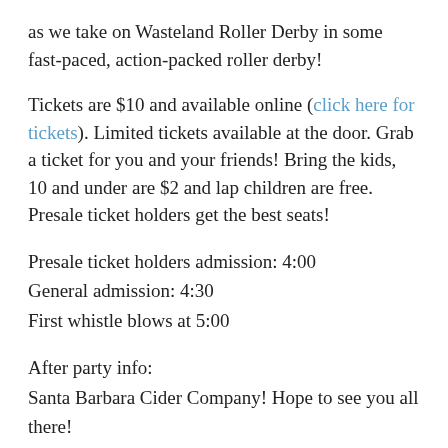as we take on Wasteland Roller Derby in some fast-paced, action-packed roller derby!
Tickets are $10 and available online (click here for tickets). Limited tickets available at the door. Grab a ticket for you and your friends! Bring the kids, 10 and under are $2 and lap children are free. Presale ticket holders get the best seats!
Presale ticket holders admission: 4:00
General admission: 4:30
First whistle blows at 5:00
After party info:
Santa Barbara Cider Company! Hope to see you all there!